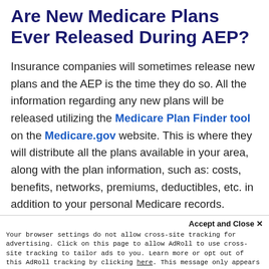Are New Medicare Plans Ever Released During AEP?
Insurance companies will sometimes release new plans and the AEP is the time they do so. All the information regarding any new plans will be released utilizing the Medicare Plan Finder tool on the Medicare.gov website. This is where they will distribute all the plans available in your area, along with the plan information, such as: costs, benefits, networks, premiums, deductibles, etc. in addition to your personal Medicare records.
Accept and Close ✕
Your browser settings do not allow cross-site tracking for advertising. Click on this page to allow AdRoll to use cross-site tracking to tailor ads to you. Learn more or opt out of this AdRoll tracking by clicking here. This message only appears once.